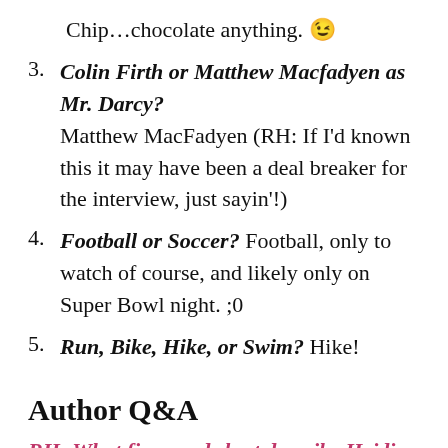Chip…chocolate anything. 😉
3. Colin Firth or Matthew Macfadyen as Mr. Darcy? Matthew MacFadyen (RH: If I'd known this it may have been a deal breaker for the interview, just sayin'!)
4. Football or Soccer? Football, only to watch of course, and likely only on Super Bowl night. ;0
5. Run, Bike, Hike, or Swim? Hike!
Author Q&A
RH: What five words best describe Heidi apart from being an author?